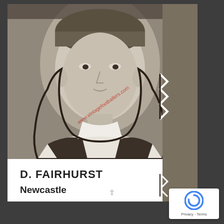[Figure (photo): Vintage black and white football card showing a male footballer's portrait. The player is wearing a dark and white striped jersey. The image has a watermark reading 'www.vintagefootballers.com' diagonally across the photo. Below the photo, on a white caption strip, the text reads 'D. FAIRHURST' in bold uppercase and 'Newcastle' in bold mixed case.]
D. FAIRHURST
Newcastle